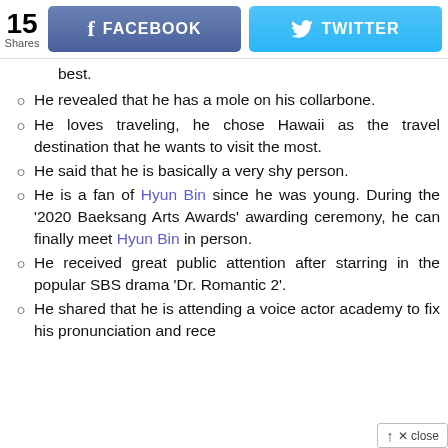15 Shares | FACEBOOK | TWITTER
best.
He revealed that he has a mole on his collarbone.
He loves traveling, he chose Hawaii as the travel destination that he wants to visit the most.
He said that he is basically a very shy person.
He is a fan of Hyun Bin since he was young. During the ‘2020 Baeksang Arts Awards’ awarding ceremony, he can finally meet Hyun Bin in person.
He received great public attention after starring in the popular SBS drama ‘Dr. Romantic 2’.
He shared that he is attending a voice actor academy to fix his pronunciation and rece...